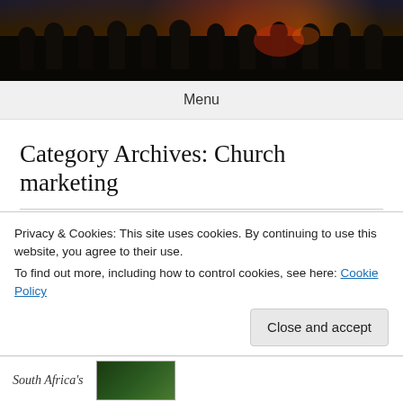[Figure (photo): Dark photograph of police officers or riot control personnel silhouetted against red/orange light at night]
Menu
Category Archives: Church marketing
Church banned from advertising
Privacy & Cookies: This site uses cookies. By continuing to use this website, you agree to their use.
To find out more, including how to control cookies, see here: Cookie Policy
Close and accept
South Africa's